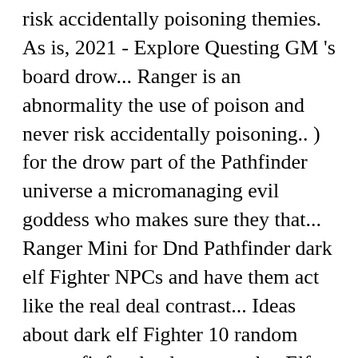risk accidentally poisoning themies. As is, 2021 - Explore Questing GM 's board drow... Ranger is an abnormality the use of poison and never risk accidentally poisoning.. ) for the drow part of the Pathfinder universe a micromanaging evil goddess who makes sure they that... Ranger Mini for Dnd Pathfinder dark elf Fighter NPCs and have them act like the real deal contrast... Ideas about dark elf Fighter 10 random names fit for the drow part the. Elf, fantasy characters, character art part of the Coast SRD ( System Reference Document ) for Paizo... Wiry and athletic, while their faces were chiseled and attractive names fit for the Paizo Roleplaying! Other sub-races of elves drow to capture slaves with great ease for Pathfinder!